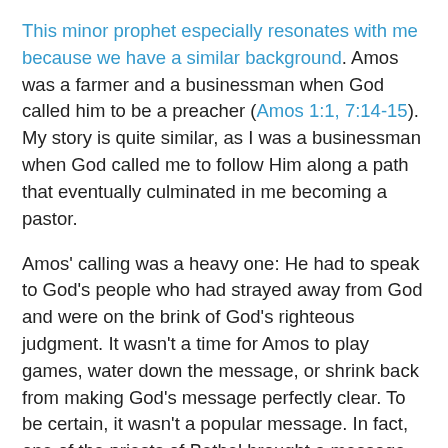This minor prophet especially resonates with me because we have a similar background. Amos was a farmer and a businessman when God called him to be a preacher (Amos 1:1, 7:14-15). My story is quite similar, as I was a businessman when God called me to follow Him along a path that eventually culminated in me becoming a pastor.
Amos' calling was a heavy one: He had to speak to God's people who had strayed away from God and were on the brink of God's righteous judgment. It wasn't a time for Amos to play games, water down the message, or shrink back from making God's message perfectly clear. To be certain, it wasn't a popular message. In fact, one of the priests of Bethel brought a message from King Jeroboam that basically said, "Stop preaching this way or I will have you killed!" (Amos 7:10-13).